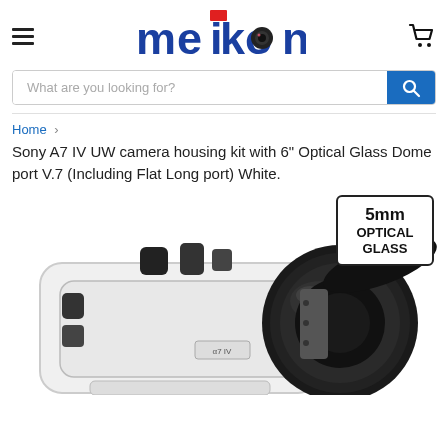Meikon - navigation header with hamburger menu, logo, and cart icon
What are you looking for?
Home > Sony A7 IV UW camera housing kit with 6" Optical Glass Dome port V.7 (Including Flat Long port) White.
Sony A7 IV UW camera housing kit with 6" Optical Glass Dome port V.7 (Including Flat Long port) White.
[Figure (photo): Photo of a white Sony A7 IV underwater camera housing kit with a large black dome port/lens attachment. A small badge in the top-right corner reads '5mm OPTICAL GLASS'.]